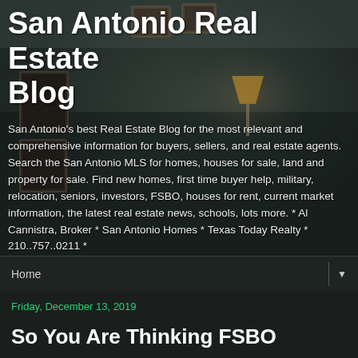[Figure (photo): Dark moody interior room background with old paintings on wall, lamp, and dim lighting used as hero image behind blog header]
San Antonio Real Estate Blog
San Antonio's best Real Estate Blog for the most relevant and comprehensive information for buyers, sellers, and real estate agents. Search the San Antonio MLS for homes, houses for sale, land and property for sale. Find new homes, first time buyer help, military, relocation, seniors, investors, FSBO, houses for rent, current market information, the latest real estate news, schools, lots more. * Al Cannistra, Broker * San Antonio Homes * Texas Today Realty * 210..757..0211 *
Home ▼
Friday, December 13, 2019
So You Are Thinking FSBO